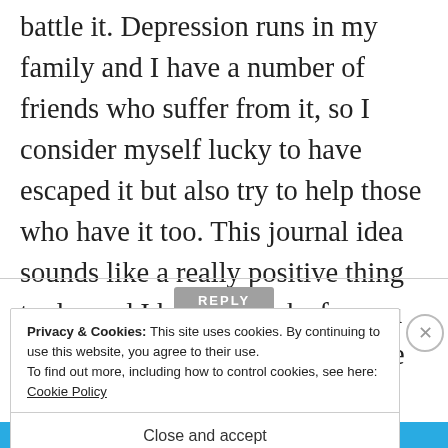battle it. Depression runs in my family and I have a number of friends who suffer from it, so I consider myself lucky to have escaped it but also try to help those who have it too. This journal idea sounds like a really positive thing to do, and I hope it works for you and makes those dark days a little brighter and less frequent 🙂
REPLY
Privacy & Cookies: This site uses cookies. By continuing to use this website, you agree to their use.
To find out more, including how to control cookies, see here: Cookie Policy
Close and accept